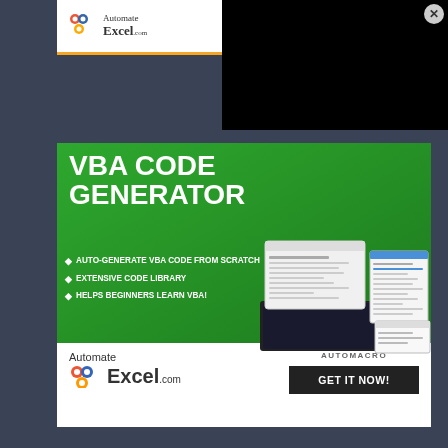[Figure (screenshot): AutomateExcel.com top banner advertisement with logo showing Automate Excel .com branding with gear icons]
[Figure (screenshot): Black overlay panel in top right area]
[Figure (infographic): Green advertisement banner for VBA Code Generator by AutomateExcel.com. Features bold white text 'VBA CODE GENERATOR', three bullet points: AUTO-GENERATE VBA CODE FROM SCRATCH, EXTENSIVE CODE LIBRARY, HELPS BEGINNERS LEARN VBA!. Screenshot of software on right side. Bottom white section shows AutomateExcel.com logo, AUTOMACRO label, and GET IT NOW! dark button.]
VBA CODE GENERATOR
AUTO-GENERATE VBA CODE FROM SCRATCH
EXTENSIVE CODE LIBRARY
HELPS BEGINNERS LEARN VBA!
AUTOMACRO
GET IT NOW!